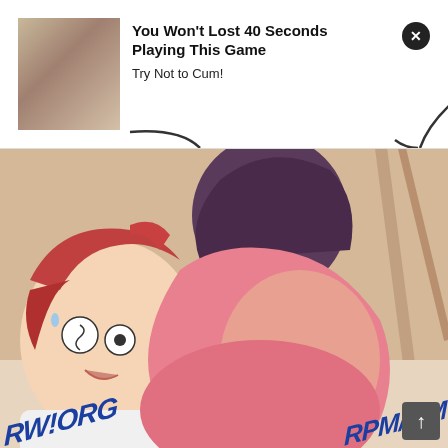[Figure (screenshot): Advertisement banner with suggestive image on the left, bold headline 'You Won't Lost 40 Seconds Playing This Game', subtext 'Try Not to Cum!', and a close (x) button in the top right. Curved speech-bubble tail lines extend downward from the ad.]
[Figure (illustration): Manga/manhwa panel showing an anime-style male character with red hair looking distressed/shocked, lying down, with a female character in a pink outfit on top. Watermark text 'RW!ORG' on the bottom left and 'RPM/MM' on the bottom right.]